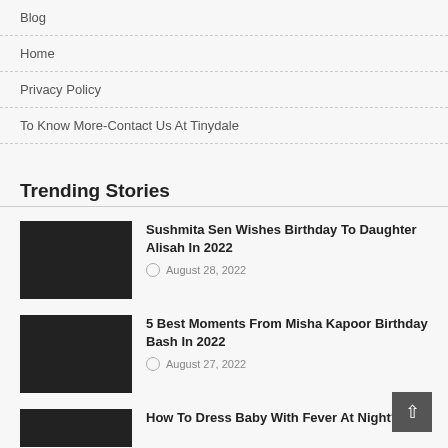Blog
Home
Privacy Policy
To Know More-Contact Us At Tinydale
Trending Stories
Sushmita Sen Wishes Birthday To Daughter Alisah In 2022
August 28, 2022
5 Best Moments From Misha Kapoor Birthday Bash In 2022
August 27, 2022
How To Dress Baby With Fever At Night?